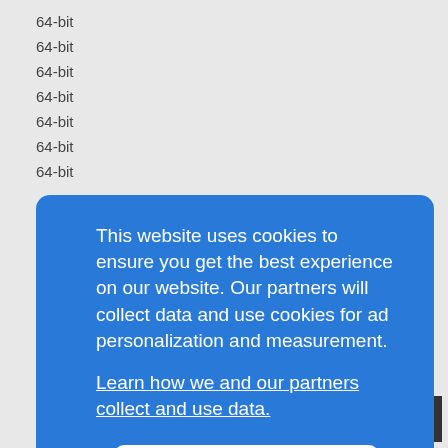64-bit
64-bit
64-bit
64-bit
64-bit
64-bit
64-bit
% of the total core available.
This website uses cookies to ensure you get the best experience on our website. Our partners will collect data and use cookies for ad personalization and measurement. Learn how we and our partners collect and use data.
OK
a standard three-tiered environment consisting of an Apache